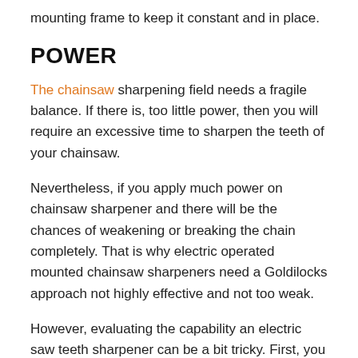mounting frame to keep it constant and in place.
POWER
The chainsaw sharpening field needs a fragile balance. If there is, too little power, then you will require an excessive time to sharpen the teeth of your chainsaw.
Nevertheless, if you apply much power on chainsaw sharpener and there will be the chances of weakening or breaking the chain completely. That is why electric operated mounted chainsaw sharpeners need a Goldilocks approach not highly effective and not too weak.
However, evaluating the capability an electric saw teeth sharpener can be a bit tricky. First, you have to consider how quick the grinding procedure spins. This is usually